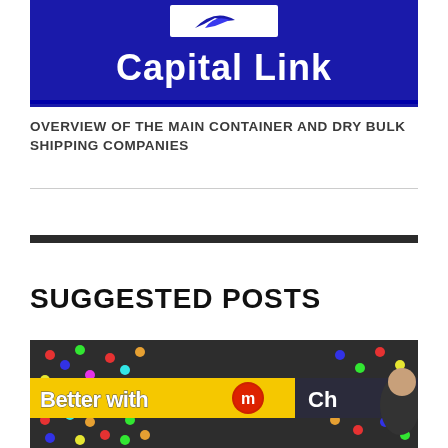[Figure (logo): Capital Link logo — blue background with white text reading 'Capital Link' and a small white bird/sail icon in a white rectangle at top]
OVERVIEW OF THE MAIN CONTAINER AND DRY BULK SHIPPING COMPANIES
SUGGESTED POSTS
[Figure (photo): Photo of M&M's candy display with colorful candy behind glass, yellow banner reading 'Better with m' with a red M&M logo, and partial text 'Ch' on dark background; child visible on right edge]